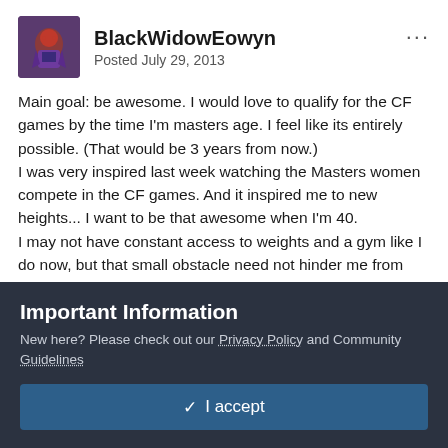[Figure (illustration): User avatar showing a fantasy character with dark purple colors, small pixel-art style game character]
BlackWidowEowyn
Posted July 29, 2013
Main goal: be awesome. I would love to qualify for the CF games by the time I'm masters age. I feel like its entirely possible. (That would be 3 years from now.)
I was very inspired last week watching the Masters women compete in the CF games. And it inspired me to new heights... I want to be that awesome when I'm 40.
I may not have constant access to weights and a gym like I do now, but that small obstacle need not hinder me from this awesomeness, for I am an ASSASSIN! I can do epic things using only my bodyweight if necessary. To this end I will
Important Information
New here? Please check out our Privacy Policy and Community Guidelines
✓  I accept